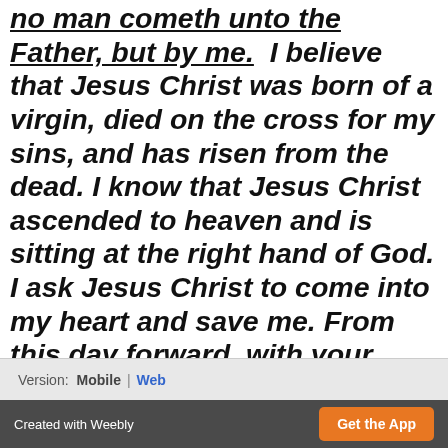no man cometh unto the Father, but by me.  I believe that Jesus Christ was born of a virgin, died on the cross for my sins, and has risen from the dead.  I know that Jesus Christ ascended to heaven and is sitting at the right hand of God.  I ask Jesus Christ to come into my heart and save me.  From this day forward, with your help Lord Jesus, I will serve you completely.  I am yours!  Thank you Jesus Christ for my salvation, Amen.
Version:  Mobile  |  Web
Created with Weebly   Get the App